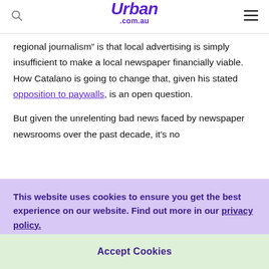Urban .com.au
regional journalism” is that local advertising is simply insufficient to make a local newspaper financially viable. How Catalano is going to change that, given his stated opposition to paywalls, is an open question.
But given the unrelenting bad news faced by newspaper newsrooms over the past decade, it’s no
This website uses cookies to ensure you get the best experience on our website. Find out more in our privacy policy.
Accept Cookies